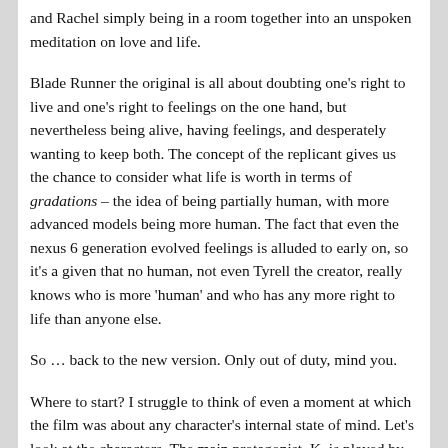and Rachel simply being in a room together into an unspoken meditation on love and life.
Blade Runner the original is all about doubting one's right to live and one's right to feelings on the one hand, but nevertheless being alive, having feelings, and desperately wanting to keep both. The concept of the replicant gives us the chance to consider what life is worth in terms of gradations – the idea of being partially human, with more advanced models being more human. The fact that even the nexus 6 generation evolved feelings is alluded to early on, so it's a given that no human, not even Tyrell the creator, really knows who is more 'human' and who has any more right to life than anyone else.
So … back to the new version. Only out of duty, mind you.
Where to start? I struggle to think of even a moment at which the film was about any character's internal state of mind. Let's look at the characters. The main protagonist, K, is played by Gosling as unfeeling and duty-bound. He does what he's told. He's a replicant, but apparently one